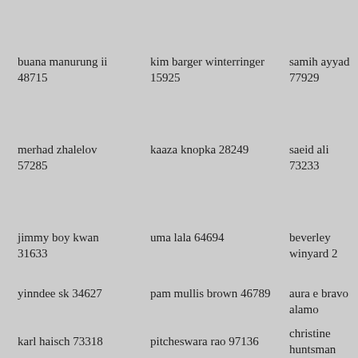buana manurung ii 48715
kim barger winterringer 15925
samih ayyad 77929
merhad zhalelov 57285
kaaza knopka 28249
saeid ali 73233
jimmy boy kwan 31633
uma lala 64694
beverley winyard 2
yinndee sk 34627
pam mullis brown 46789
aura e bravo alamo
karl haisch 73318
pitcheswara rao 97136
christine huntsman 43655